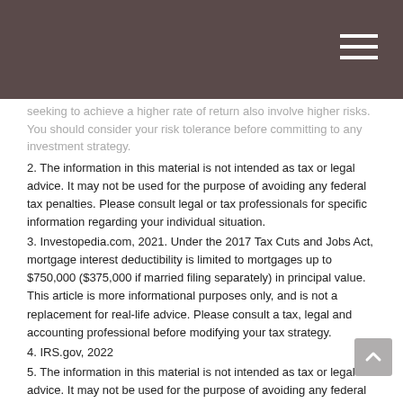seeking to achieve a higher rate of return also involve higher risks. You should consider your risk tolerance before committing to any investment strategy.
2. The information in this material is not intended as tax or legal advice. It may not be used for the purpose of avoiding any federal tax penalties. Please consult legal or tax professionals for specific information regarding your individual situation.
3. Investopedia.com, 2021. Under the 2017 Tax Cuts and Jobs Act, mortgage interest deductibility is limited to mortgages up to $750,000 ($375,000 if married filing separately) in principal value. This article is more informational purposes only, and is not a replacement for real-life advice. Please consult a tax, legal and accounting professional before modifying your tax strategy.
4. IRS.gov, 2022
5. The information in this material is not intended as tax or legal advice. It may not be used for the purpose of avoiding any federal tax penalties. Please consult legal or tax professionals for specific information regarding your individual situation.
The content is developed from sources believed to be providing accurate information. The information in this material is not intended as tax or legal advice. It may not be used for the purpose of avoiding any federal tax penalties. Please consult legal or tax professionals for specific information regarding your individual situation. This material was developed and produced by FMG Suite to provide information on a topic that may be of interest. FMG, LLC, is not affiliated with the named broker-dealer, state- or SEC-registered investment advisory firm. The opinions expressed and material provided are for general information, and should not be considered a solicitation for the...